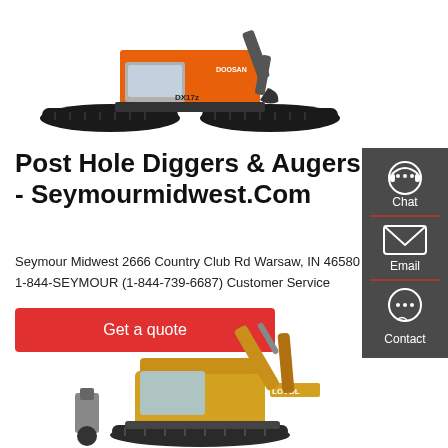[Figure (photo): Orange and black Doosan DX17z mini excavator on tracks, viewed from the side, white background]
Post Hole Diggers & Augers - Seymourmidwest.Com
Seymour Midwest 2666 Country Club Rd Warsaw, IN 46580 1-844-SEYMOUR (1-844-739-6687) Customer Service
[Figure (infographic): Dark grey sidebar with Chat (headset icon), Email (envelope icon), and Contact (speech bubble icon) buttons in white text with red dividers]
Get a quote
[Figure (photo): Yellow Lovol excavator with extended boom arm, partial view, white background]